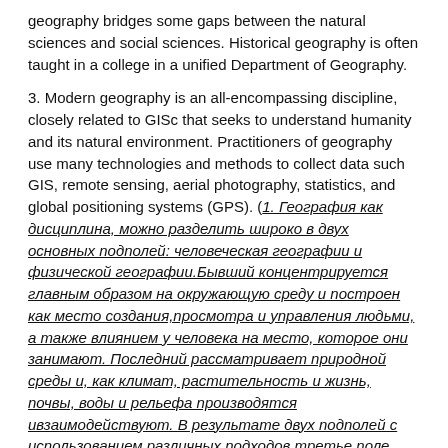geography bridges some gaps between the natural sciences and social sciences. Historical geography is often taught in a college in a unified Department of Geography.
3. Modern geography is an all-encompassing discipline, closely related to GISc that seeks to understand humanity and its natural environment. Practitioners of geography use many technologies and methods to collect data such GIS, remote sensing, aerial photography, statistics, and global positioning systems (GPS). (1. География как дисциплина, можно разделить широко в двух основных подполей: человеческая географии и физической географии.Бывший концентрируется главным образом на окружающую среду и построен как место создания,просмотра и управления людьми, а также влиянием у человека на место, которое они занимают. Последний рассматривает природной среды и, как климат, растительность и жизнь, почвы, воды и рельефа производятся ивзаимодействуют. В результате двух подполей с использованием различных подходов третье поле появился, который является экологической географии. 2. Географы пытаются понять Землю с точки зрения физических ипространственных отношений. Первые географы сосредоточены на наукекартографии и поиска путей точно прогнозировать поверхности земли. В этом смысле, зеографии мостов некоторые